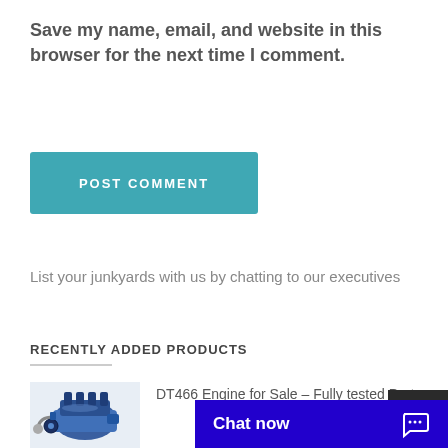Save my name, email, and website in this browser for the next time I comment.
[Figure (other): POST COMMENT button — teal/blue-green rectangular button with white uppercase text]
List your junkyards with us by chatting to our executives
RECENTLY ADDED PRODUCTS
[Figure (photo): DT466 engine photo — blue diesel engine on white background]
DT466 Engine for Sale – Fully tested Parts